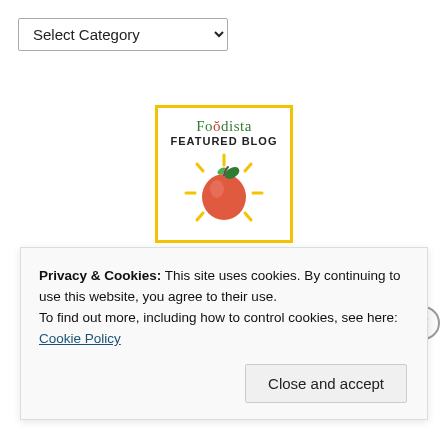Select Category
[Figure (logo): Foodista Featured Blog badge: yellow border, 'Foodista' in green/red text, 'FEATURED BLOG' in bold black, peach fruit illustration with yellow sunburst lines]
[Figure (illustration): Partial arc/circle graphic in dark gray, cropped at bottom of page]
Privacy & Cookies: This site uses cookies. By continuing to use this website, you agree to their use.
To find out more, including how to control cookies, see here:
Cookie Policy
Close and accept